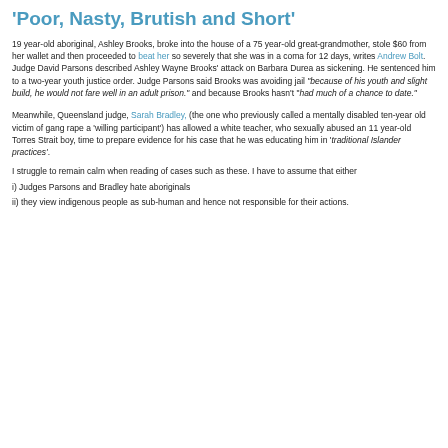'Poor, Nasty, Brutish and Short'
19 year-old aboriginal, Ashley Brooks, broke into the house of a 75 year-old great-grandmother, stole $60 from her wallet and then proceeded to beat her so severely that she was in a coma for 12 days, writes Andrew Bolt. Judge David Parsons described Ashley Wayne Brooks' attack on Barbara Durea as sickening. He sentenced him to a two-year youth justice order. Judge Parsons said Brooks was avoiding jail "because of his youth and slight build, he would not fare well in an adult prison." and because Brooks hasn't "had much of a chance to date."
Meanwhile, Queensland judge, Sarah Bradley, (the one who previously called a mentally disabled ten-year old victim of gang rape a 'willing participant') has allowed a white teacher, who sexually abused an 11 year-old Torres Strait boy, time to prepare evidence for his case that he was educating him in 'traditional Islander practices'.
I struggle to remain calm when reading of cases such as these. I have to assume that either
i) Judges Parsons and Bradley hate aboriginals
ii) they view indigenous people as sub-human and hence not responsible for their actions.